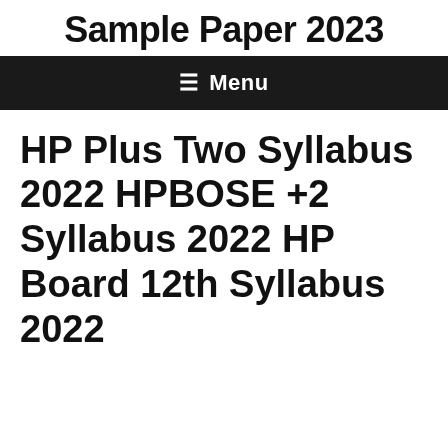Sample Paper 2023
≡ Menu
HP Plus Two Syllabus 2022 HPBOSE +2 Syllabus 2022 HP Board 12th Syllabus 2022